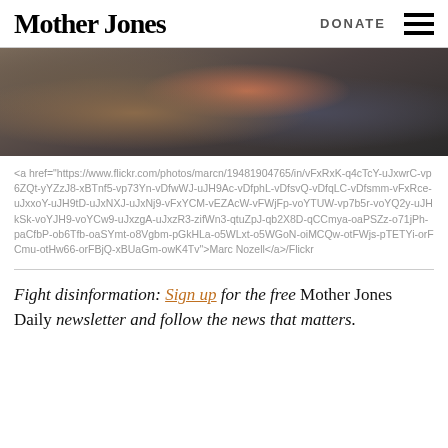Mother Jones | DONATE
[Figure (photo): A man in a dark suit with a red tie and boutonniere holding a microphone, another person partially visible to the right.]
<a href="https://www.flickr.com/photos/marcn/19481904765/in/vFxRxK-q4cTcY-uJxwrC-vp6ZQt-yYZzJ8-xBTnf5-vp73Yn-vDfwWJ-uJH9Ac-vDfphL-vDfsvQ-vDfqLC-vDfsmm-vFxRce-uJxxoY-uJH9tD-uJxNXJ-uJxNj9-vFxYCM-vEZAcW-vFWjFp-voYTUW-vp7b5r-voYQ2y-uJHkSk-voYJH9-voYCw9-uJxzgA-uJxzR3-zifWn3-qtuZpJ-qb2X8D-qCCmya-oaPSZz-o71jPh-paCfbP-ob6Tfb-oaSYmt-o8Vgbm-pGkHLa-o5WLxt-o5WGoN-oiMCQw-otFWjs-pTETYi-orFCmu-otHw66-orFBjQ-xBUaGm-owK4Tv">Marc Nozell</a>/Flickr
Fight disinformation: Sign up for the free Mother Jones Daily newsletter and follow the news that matters.